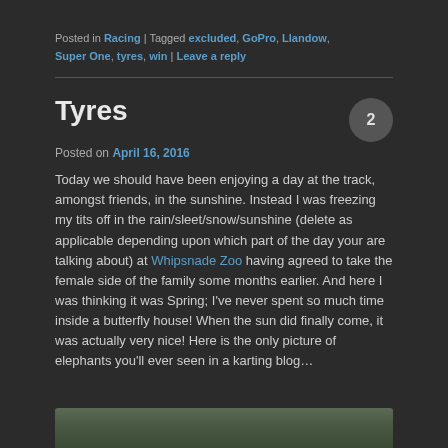Posted in Racing | Tagged excluded, GoPro, Llandow, Super One, tyres, win | Leave a reply
Tyres
Posted on April 16, 2016
Today we should have been enjoying a day at the track, amongst friends, in the sunshine. Instead I was freezing my tits off in the rain/sleet/snow/sunshine (delete as applicable depending upon which part of the day your are talking about) at Whipsnade Zoo having agreed to take the female side of the family some months earlier. And here I was thinking it was Spring; I've never spent so much time inside a butterfly house! When the sun did finally come, it was actually very nice! Here is the only picture of elephants you'll ever seen in a karting blog…
[Figure (photo): Partial image of elephants at Whipsnade Zoo, partially visible at bottom of page]